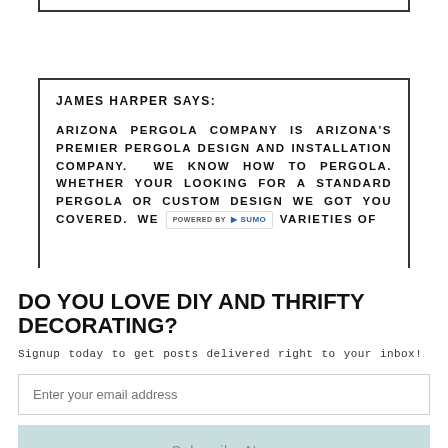JAMES HARPER SAYS:
ARIZONA PERGOLA COMPANY IS ARIZONA'S PREMIER PERGOLA DESIGN AND INSTALLATION COMPANY. WE KNOW HOW TO PERGOLA. WHETHER YOUR LOOKING FOR A STANDARD PERGOLA OR CUSTOM DESIGN WE GOT YOU COVERED. WE VARIETIES OF
DO YOU LOVE DIY AND THRIFTY DECORATING?
Signup today to get posts delivered right to your inbox!
Enter your email address
Subscribe Now